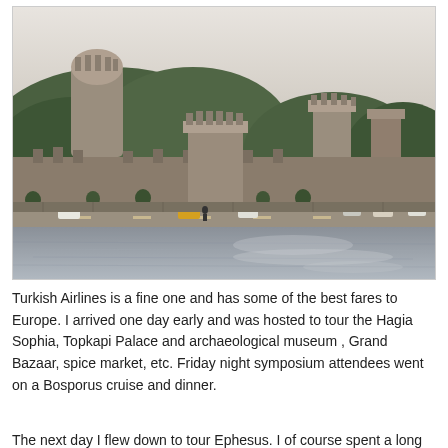[Figure (photo): A photograph of a large medieval stone fortress (Rumeli Fortress) on a hillside covered with trees, with a road and waterway (Bosphorus strait) in the foreground. Cars are visible on the road. The sky is overcast.]
Turkish Airlines is a fine one and has some of the best fares to Europe. I arrived one day early and was hosted to tour the Hagia Sophia, Topkapi Palace and archaeological museum , Grand Bazaar, spice market, etc. Friday night symposium attendees went on a Bosporus cruise and dinner.
The next day I flew down to tour Ephesus. I of course spent a long